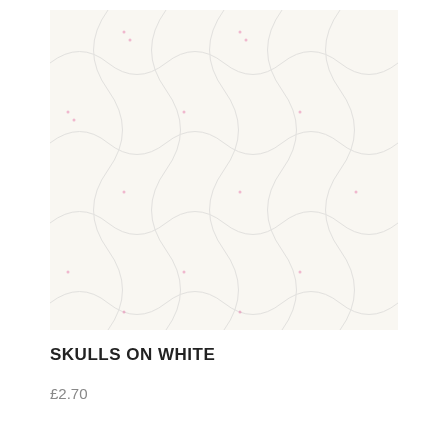[Figure (illustration): A colorful repeating fabric pattern featuring sugar skulls (Día de los Muertos style) with floral/leaf motifs in pink, teal, coral, yellow-gold, and white on a white background.]
SKULLS ON WHITE
£2.70